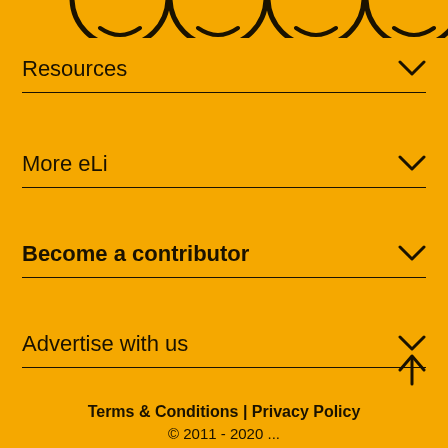[Figure (illustration): Partial view of four social media icon circles (tops visible) on yellow background]
Resources
More eLi
Become a contributor
Advertise with us
Terms & Conditions | Privacy Policy
© 2011 - 2020 ...